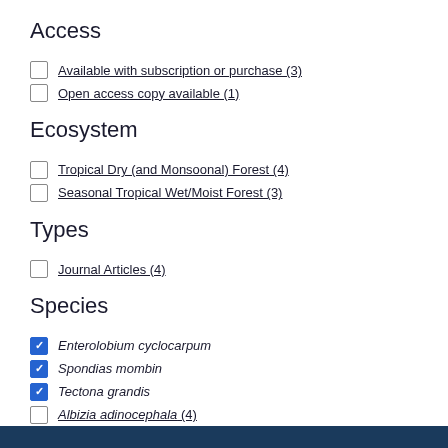Access
Available with subscription or purchase (3)
Open access copy available (1)
Ecosystem
Tropical Dry (and Monsoonal) Forest (4)
Seasonal Tropical Wet/Moist Forest (3)
Types
Journal Articles (4)
Species
Enterolobium cyclocarpum
Spondias mombin
Tectona grandis
Albizia adinocephala (4)
Albizia guachapele (4)
Show more